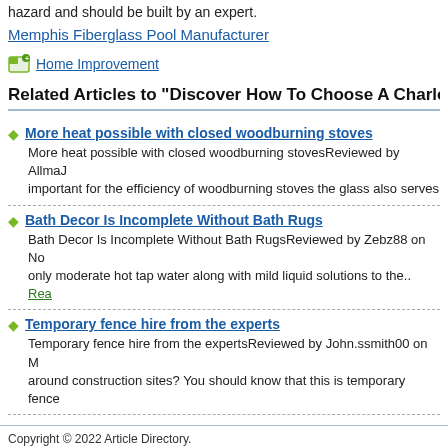hazard and should be built by an expert.
Memphis Fiberglass Pool Manufacturer
Home Improvement
Related Articles to "Discover How To Choose A Charlotte
More heat possible with closed woodburning stoves — More heat possible with closed woodburning stovesReviewed by AllmaJ... important for the efficiency of woodburning stoves the glass also serves
Bath Decor Is Incomplete Without Bath Rugs — Bath Decor Is Incomplete Without Bath RugsReviewed by Zebz88 on No... only moderate hot tap water along with mild liquid solutions to the.. Read
Temporary fence hire from the experts — Temporary fence hire from the expertsReviewed by John.ssmith00 on M... around construction sites? You should know that this is temporary fence
Copyright © 2022 Article Directory.
Proudly powered by WordPress 4.6.20 | Article Directory - Free Article Submission Partner : Visit Visit Semarang